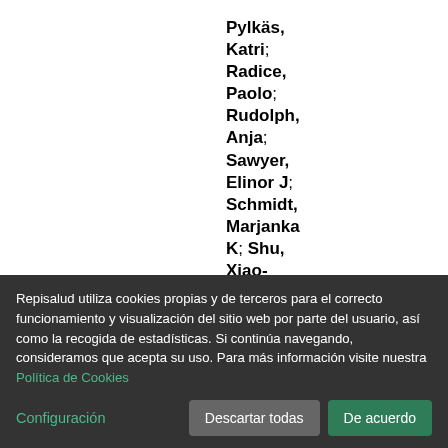Pylkäs, Katri; Radice, Paolo; Rudolph, Anja; Sawyer, Elinor J; Schmidt, Marjanka K; Shu, Xiao-Ou; Southey,
Repisalud utiliza cookies propias y de terceros para el correcto funcionamiento y visualización del sitio web por parte del usuario, así como la recogida de estadísticas. Si continúa navegando, consideramos que acepta su uso. Para más información visite nuestra Política de Cookies